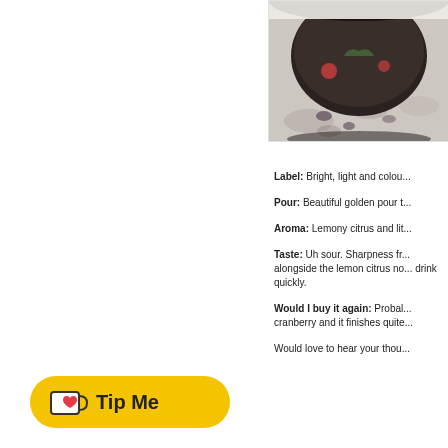[Figure (photo): Photo of a dark ceramic bowl or pot with floral decorations on a textured surface, cropped showing the top portion]
Label: Bright, light and colou...
Pour: Beautiful golden pour t...
Aroma: Lemony citrus and lit...
Taste: Uh sour. Sharpness fr... alongside the lemon citrus no... drink quickly.
Would I buy it again: Probal... cranberry and it finishes quite...
Would love to hear your thou...
[Figure (logo): Ko-fi Tip Me button — yellow rounded rectangle with a coffee cup icon and heart, text says Tip Me]